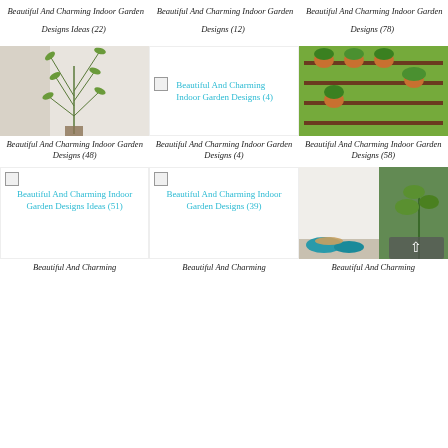Beautiful And Charming Indoor Garden Designs Ideas (22)
Beautiful And Charming Indoor Garden Designs (12)
Beautiful And Charming Indoor Garden Designs (78)
[Figure (photo): Indoor plant photo - tall green spiky plant]
[Figure (photo): Broken image placeholder with link text: Beautiful And Charming Indoor Garden Designs (4)]
[Figure (photo): Indoor vertical garden with shelves and potted plants]
Beautiful And Charming Indoor Garden Designs (48)
Beautiful And Charming Indoor Garden Designs (4)
Beautiful And Charming Indoor Garden Designs (58)
[Figure (photo): Broken image placeholder with link: Beautiful And Charming Indoor Garden Designs Ideas (51)]
[Figure (photo): Broken image placeholder with link: Beautiful And Charming Indoor Garden Designs (39)]
[Figure (photo): Kitchen counter with plants and teal bowls]
Beautiful And Charming
Beautiful And Charming
Beautiful And Charming